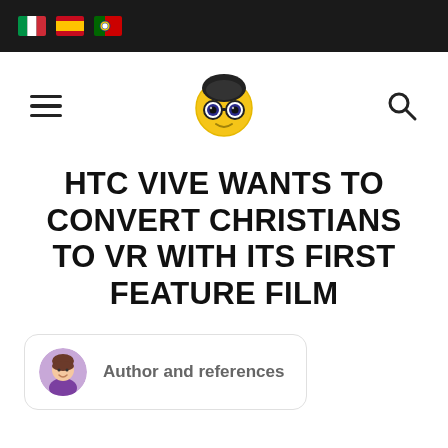Language flags: Italian, Spanish, Portuguese
[Figure (logo): Robot/bee mascot logo with yellow helmet and goggles]
HTC VIVE WANTS TO CONVERT CHRISTIANS TO VR WITH ITS FIRST FEATURE FILM
Author and references